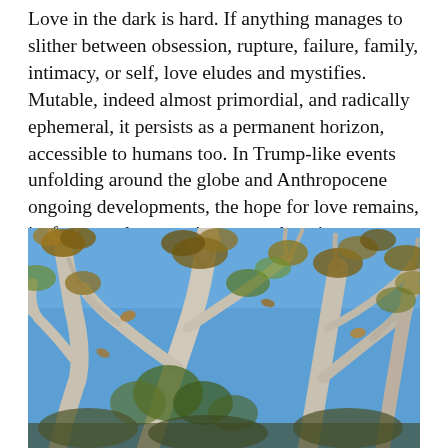Love in the dark is hard. If anything manages to slither between obsession, rupture, failure, family, intimacy, or self, love eludes and mystifies. Mutable, indeed almost primordial, and radically ephemeral, it persists as a permanent horizon, accessible to humans too. In Trump-like events unfolding around the globe and Anthropocene ongoing developments, the hope for love remains, its forms and conceptions ever changing.
[Figure (photo): Photograph of bare tree branches with sparse autumn leaves against a clear blue sky, taken from below looking upward. The branches are pale/white and gnarled, with brown and orange leaves clinging to the ends.]